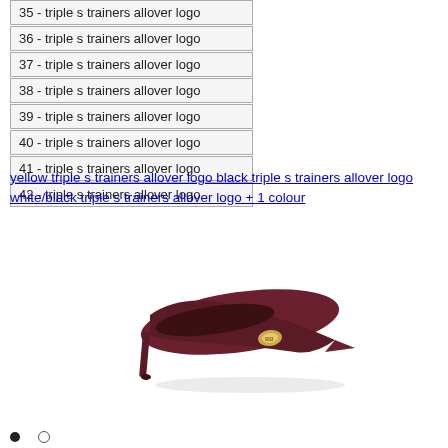35 - triple s trainers allover logo
36 - triple s trainers allover logo
37 - triple s trainers allover logo
38 - triple s trainers allover logo
39 - triple s trainers allover logo
40 - triple s trainers allover logo
41 - triple s trainers allover logo
42 - triple s trainers allover logo
yellow triple s trainers allover logo black triple s trainers allover logo white/black triple s trainers allover logo + 1 colour
[Figure (photo): A dark red/burgundy pointed-toe stiletto mule shoe with a gold logo embellishment on the vamp.]